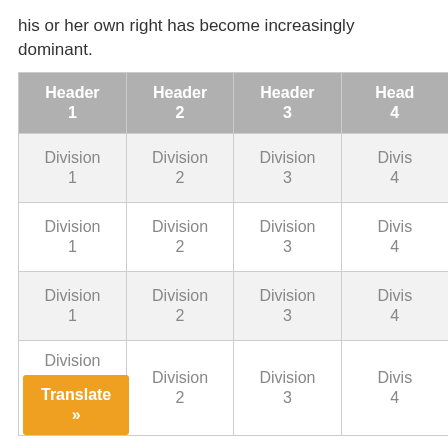his or her own right has become increasingly dominant.
| Header 1 | Header 2 | Header 3 | Header 4 |
| --- | --- | --- | --- |
| Division 1 | Division 2 | Division 3 | Division 4 |
| Division 1 | Division 2 | Division 3 | Division 4 |
| Division 1 | Division 2 | Division 3 | Division 4 |
| Division 1 | Division 2 | Division 3 | Division 4 |